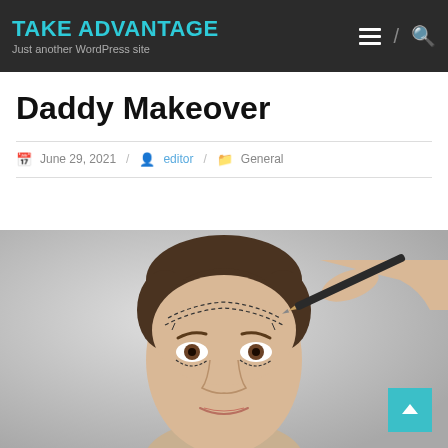TAKE ADVANTAGE — Just another WordPress site
Daddy Makeover
June 29, 2021 / editor / General
[Figure (photo): Man's face with cosmetic surgery dashed-line markings drawn on forehead and around eyes, with a hand holding a pencil drawing on the face]